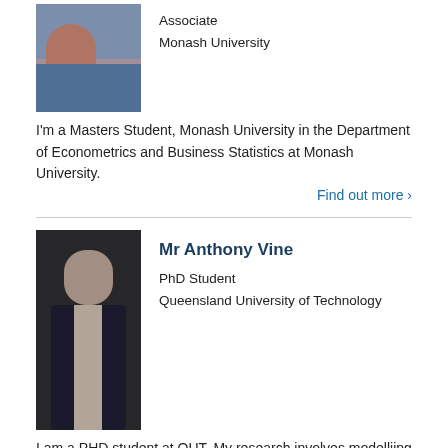[Figure (photo): Partial photo of first person (woman in blue attire)]
Associate
Monash University
I'm a Masters Student, Monash University in the Department of Econometrics and Business Statistics at Monash University.
Find out more ›
[Figure (photo): Photo of Mr Anthony Vine, a man in a suit against a dark background]
Mr Anthony Vine
PhD Student
Queensland University of Technology
I am a PHD student at QUT. My research involves modelliing the transfer of mass and energy during food drying.
Find out more ›
[Figure (photo): Partial photo of Ms Sarah Vollert]
Ms Sarah Vollert